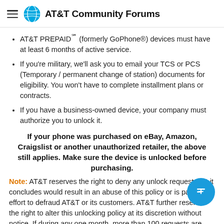AT&T Community Forums
AT&T PREPAID℠ (formerly GoPhone®) devices must have at least 6 months of active service.
If you're military, we'll ask you to email your TCS or PCS (Temporary / permanent change of station) documents for eligibility. You won't have to complete installment plans or contracts.
If you have a business-owned device, your company must authorize you to unlock it.
If your phone was purchased on eBay, Amazon, Craigslist or another unauthorized retailer, the above still applies. Make sure the device is unlocked before purchasing.
Note: AT&T reserves the right to deny any unlock request that it concludes would result in an abuse of this policy or is part of an effort to defraud AT&T or its customers. AT&T further reserves the right to alter this unlocking policy at its discretion without notice. If during any one month, more than 100 requests are made from a single source, and if more than 10% of those requests are